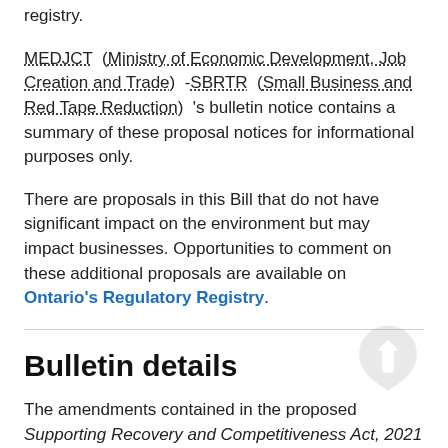registry.
MEDJCT (Ministry of Economic Development, Job Creation and Trade) -SBRTR (Small Business and Red Tape Reduction) 's bulletin notice contains a summary of these proposal notices for informational purposes only.
There are proposals in this Bill that do not have significant impact on the environment but may impact businesses. Opportunities to comment on these additional proposals are available on Ontario's Regulatory Registry.
Bulletin details
The amendments contained in the proposed Supporting Recovery and Competitiveness Act, 2021 will focus on: